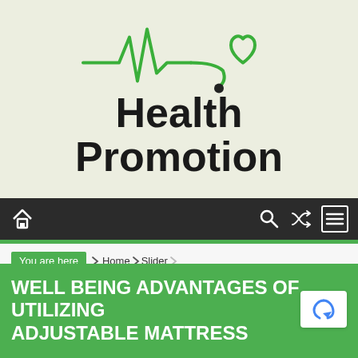[Figure (logo): Health Promotion logo with ECG/heartbeat line and stethoscope heart icon in green, with bold text 'Health Promotion' below]
Navigation bar with home icon, search icon, shuffle icon, and menu icon
You are here › Home › Slider
Well being Advantages Of Utilizing Adjustable Mattress
WELL BEING ADVANTAGES OF UTILIZING ADJUSTABLE MATTRESS